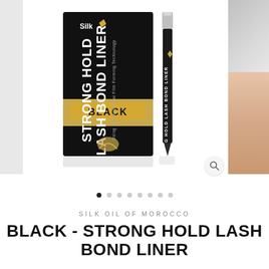[Figure (photo): Product photo of Silk Oil of Morocco Strong Hold Lash Bond Liner in Black. Shows a black rectangular product box with gold lettering reading 'STRONG HOLD LASH BOND LINER' and a gold 'BLACK' label, alongside a slim black eyeliner pencil with silver cap. Background is white with a light gray strip on the left edge and a partial photo of a person with gray/silver hair and skin visible on the right edge. A magnify/zoom icon appears at bottom right.]
SILK OIL OF MOROCCO
BLACK - STRONG HOLD LASH BOND LINER